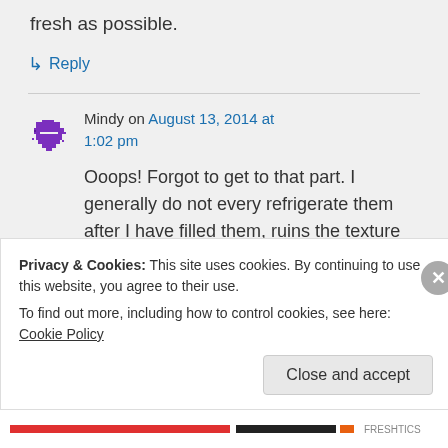fresh as possible.
↳ Reply
Mindy on August 13, 2014 at 1:02 pm
Ooops! Forgot to get to that part. I generally do not every refrigerate them after I have filled them, ruins the texture
Privacy & Cookies: This site uses cookies. By continuing to use this website, you agree to their use.
To find out more, including how to control cookies, see here: Cookie Policy
Close and accept